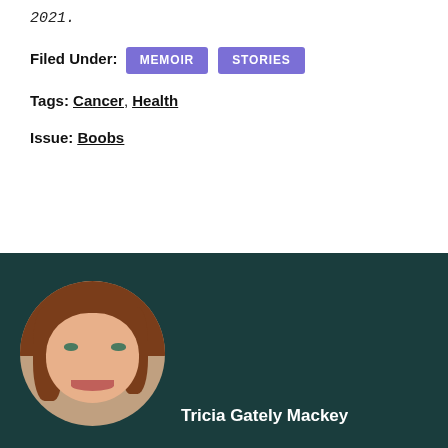2021.
Filed Under: MEMOIR STORIES
Tags: Cancer, Health
Issue: Boobs
[Figure (photo): Circular headshot of Tricia Gately Mackey on a dark teal background. She has reddish-brown hair, is smiling, and wearing a white top.]
Tricia Gately Mackey